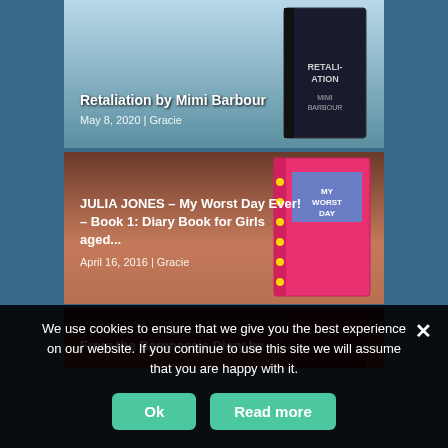[Figure (illustration): Book cover card for 'Retaliation by Mimi Barbour' with light blue background and book cover image]
Retaliation by Mimi Barbour
May 8, 2020 | Gracie
[Figure (illustration): Book cover card for 'JULIA JONES – My Worst Day Ever! – Book 1: Diary Book for Girls aged...' with brown/salmon background and book cover image]
JULIA JONES – My Worst Day Ever! – Book 1: Diary Book for Girls aged...
April 16, 2016 | Gracie
[Figure (illustration): Partial book cover card for 'From the Baroness's Diary by...' with dark red background]
From the Baroness's Diary by
We use cookies to ensure that we give you the best experience on our website. If you continue to use this site we will assume that you are happy with it.